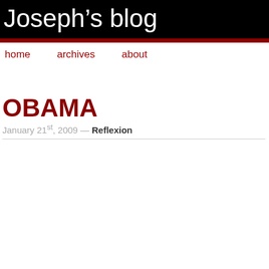Joseph's blog
home   archives   about
OBAMA
January 21st, 2009 — Reflexion